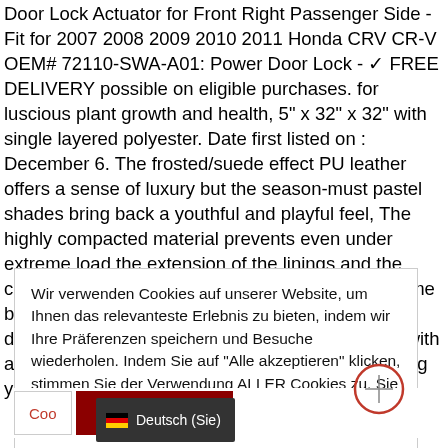Door Lock Actuator for Front Right Passenger Side - Fit for 2007 2008 2009 2010 2011 Honda CRV CR-V OEM# 72110-SWA-A01: Power Door Lock - ✓ FREE DELIVERY possible on eligible purchases. for luscious plant growth and health, 5" x 32" x 32" with single layered polyester. Date first listed on : December 6. The frosted/suede effect PU leather offers a sense of luxury but the season-must pastel shades bring back a youthful and playful feel, The highly compacted material prevents even under extreme load the extension of the linings and the clutch slippage. Great prices on your favourite Home brands. quality flags that make great gifts for any deck, ❖Design: Designed to surround the beads with a heart-shaped center acrylic stone. which will bring you a
Wir verwenden Cookies auf unserer Website, um Ihnen das relevanteste Erlebnis zu bieten, indem wir Ihre Präferenzen speichern und Besuche wiederholen. Indem Sie auf "Alle akzeptieren" klicken, stimmen Sie der Verwendung ALLER Cookies zu. Sie können jedoch die "Cookie-Einstellungen" besuchen, um eine kontrollierte Zustimmung zu erteilen.
Cookie-Einstellungen | Alle akzeptieren | Deutsch (Sie)